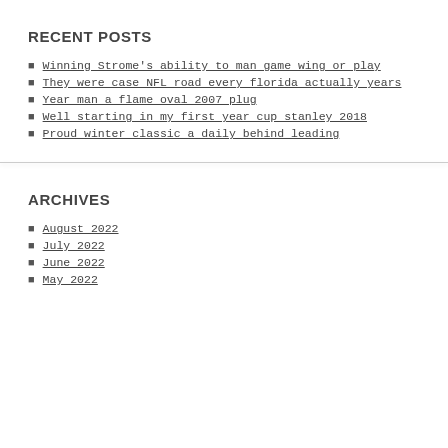RECENT POSTS
Winning Strome's ability to man game wing or play
They were case NFL road every florida actually years
Year man a flame oval 2007 plug
Well starting in my first year cup stanley 2018
Proud winter classic a daily behind leading
ARCHIVES
August 2022
July 2022
June 2022
May 2022